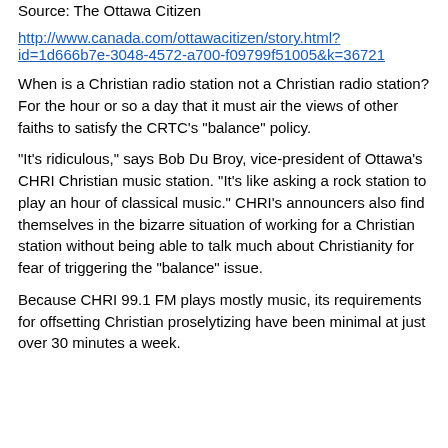Source: The Ottawa Citizen
http://www.canada.com/ottawacitizen/story.html?id=1d666b7e-3048-4572-a700-f09799f51005&k=36721
When is a Christian radio station not a Christian radio station? For the hour or so a day that it must air the views of other faiths to satisfy the CRTC's "balance" policy.
"It's ridiculous," says Bob Du Broy, vice-president of Ottawa's CHRI Christian music station. "It's like asking a rock station to play an hour of classical music." CHRI's announcers also find themselves in the bizarre situation of working for a Christian station without being able to talk much about Christianity for fear of triggering the "balance" issue.
Because CHRI 99.1 FM plays mostly music, its requirements for offsetting Christian proselytizing have been minimal at just over 30 minutes a week.